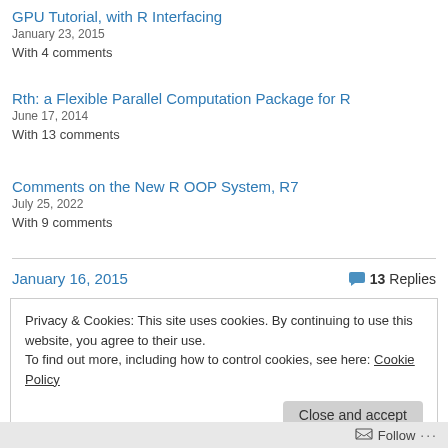GPU Tutorial, with R Interfacing
January 23, 2015
With 4 comments
Rth: a Flexible Parallel Computation Package for R
June 17, 2014
With 13 comments
Comments on the New R OOP System, R7
July 25, 2022
With 9 comments
January 16, 2015
13 Replies
Privacy & Cookies: This site uses cookies. By continuing to use this website, you agree to their use.
To find out more, including how to control cookies, see here: Cookie Policy
Close and accept
Follow